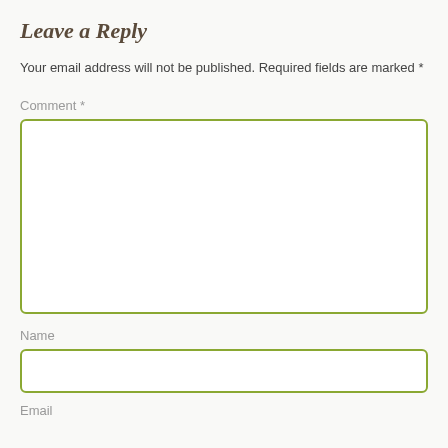Leave a Reply
Your email address will not be published. Required fields are marked *
Comment *
[Figure (other): Large text area input box with green border for comment entry]
Name
[Figure (other): Single-line text input box with green border for name entry]
Email